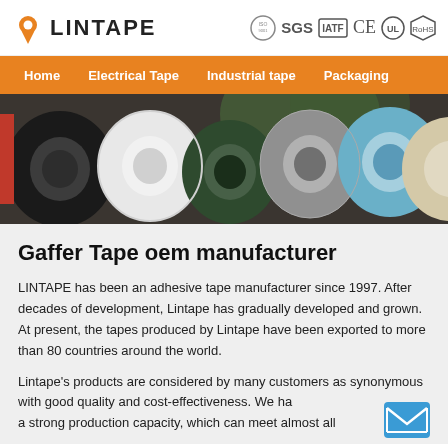[Figure (logo): LINTAPE logo with orange map pin icon and company name in bold dark text]
[Figure (logo): Certification icons: ISO, SGS, IATF, CE, UL, RoHS symbols]
Home    Electrical Tape    Industrial tape    Packaging
[Figure (photo): Hero image showing multiple rolls of adhesive tape in various colors (black, white, green, grey, blue, cream) arranged together]
Gaffer Tape oem manufacturer
LINTAPE has been an adhesive tape manufacturer since 1997. After decades of development, Lintape has gradually developed and grown. At present, the tapes produced by Lintape have been exported to more than 80 countries around the world.
Lintape's products are considered by many customers as synonymous with good quality and cost-effectiveness. We have a strong production capacity, which can meet almost all